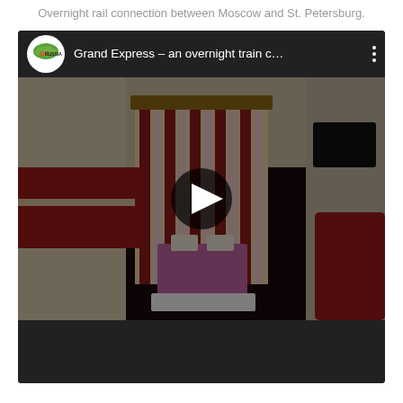Overnight rail connection between Moscow and St. Petersburg.
[Figure (screenshot): YouTube video embed showing 'Grand Express – an overnight train c…' with GoRussia logo, video thumbnail of a train sleeping cabin with red upholstery and a small table, dark overlay with play button, and black bottom bar.]